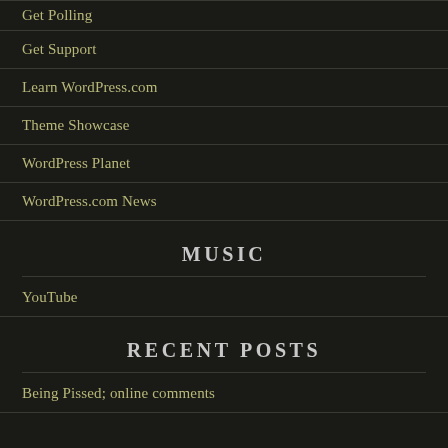Get Polling
Get Support
Learn WordPress.com
Theme Showcase
WordPress Planet
WordPress.com News
MUSIC
YouTube
RECENT POSTS
Being Pissed; online comments